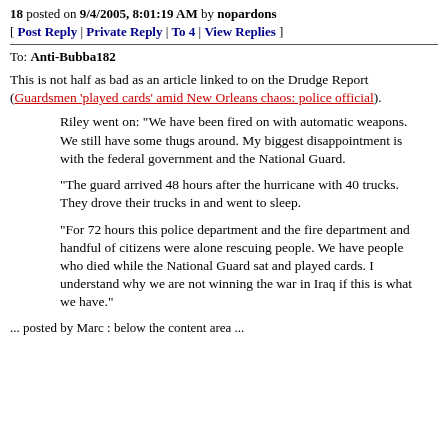18 posted on 9/4/2005, 8:01:19 AM by nopardons
[ Post Reply | Private Reply | To 4 | View Replies ]
To: Anti-Bubba182
This is not half as bad as an article linked to on the Drudge Report (Guardsmen 'played cards' amid New Orleans chaos: police official).
Riley went on: "We have been fired on with automatic weapons. We still have some thugs around. My biggest disappointment is with the federal government and the National Guard.
"The guard arrived 48 hours after the hurricane with 40 trucks. They drove their trucks in and went to sleep.
"For 72 hours this police department and the fire department and handful of citizens were alone rescuing people. We have people who died while the National Guard sat and played cards. I understand why we are not winning the war in Iraq if this is what we have."
...posted by Marc : below the content area...